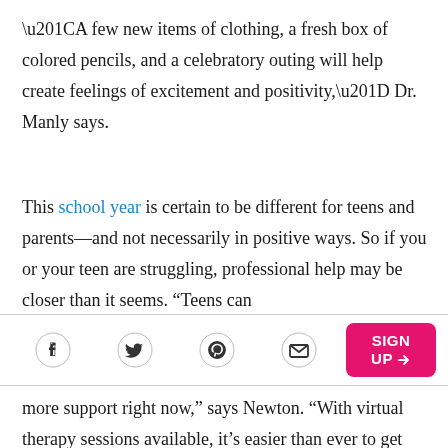“A few new items of clothing, a fresh box of colored pencils, and a celebratory outing will help create feelings of excitement and positivity,” Dr. Manly says.
This school year is certain to be different for teens and parents—and not necessarily in positive ways. So if you or your teen are struggling, professional help may be closer than it seems. “Teens can more support right now,” says Newton. “With virtual therapy sessions available, it’s easier than ever to get that help.”
[Figure (other): Social sharing bar with Facebook, Twitter, Pinterest, email icons and a pink SIGN UP button]